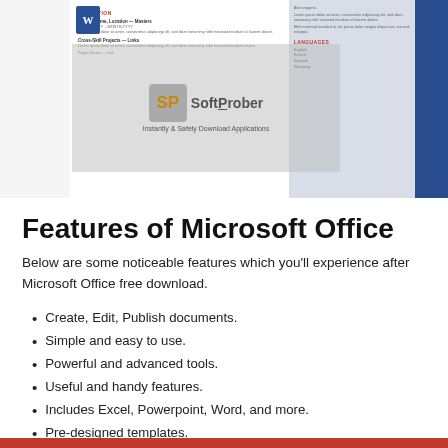[Figure (screenshot): Screenshot of a Microsoft Word resume template with an SP SoftProber watermark overlay. The watermark reads 'SP SoftProber — Instantly & Safely Download Applications'. The resume shows an EDUCATION section on the left and additional sections on the right with a blue sidebar.]
Features of Microsoft Office
Below are some noticeable features which you'll experience after Microsoft Office free download.
Create, Edit, Publish documents.
Simple and easy to use.
Powerful and advanced tools.
Useful and handy features.
Includes Excel, Powerpoint, Word, and more.
Pre-designed templates.
Dark theme supported.
Add and organize data accordingly.